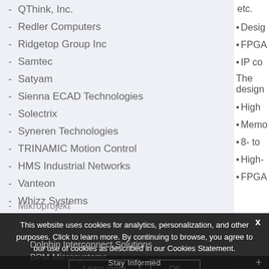QThink, Inc.
Redler Computers
Ridgetop Group Inc
Samtec
Satyam
Sienna ECAD Technologies
Solectrix
Syneren Technologies
TRINAMIC Motion Control
HMS Industrial Networks
Vanteon
Whizz Systems
Mikroprojekt
etc.
Desig
FPGA
IP co
The design
High
Memo
8- to
High-
FPGA
For informa
Dolphin Interconnect Solutions
BPM Microsystems
For automo
This website uses cookies for analytics, personalization, and other purposes. Click to learn more. By continuing to browse, you agree to our use of cookies as described in our Cookies Statement.
Stay Informed